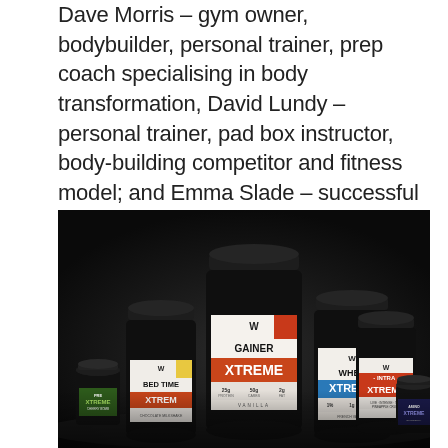Dave Morris – gym owner, bodybuilder, personal trainer, prep coach specialising in body transformation, David Lundy – personal trainer, pad box instructor, body-building competitor and fitness model; and Emma Slade – successful Bikini Athlete, personal training teacher and mentor at young people's charity NEETS*. The XF Brand is backed by investment company, Montreux Group.
[Figure (photo): Dark background product photo showing multiple XF Brand supplement containers including 'Bed Time Xtreme', 'Gainer Xtreme', 'Whey Xtreme', 'Intra Xtreme', and smaller containers including 'Pre Xtreme' and 'Amino Xtreme', all with dark labels and colored accent bands.]